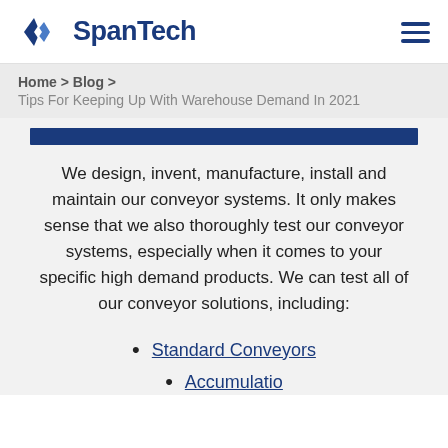SpanTech
Home > Blog > Tips For Keeping Up With Warehouse Demand In 2021
We design, invent, manufacture, install and maintain our conveyor systems. It only makes sense that we also thoroughly test our conveyor systems, especially when it comes to your specific high demand products. We can test all of our conveyor solutions, including:
Standard Conveyors
Accumulation